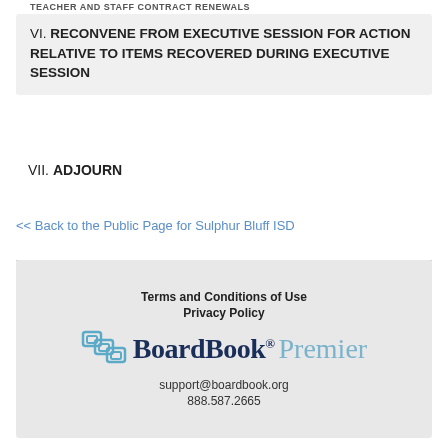TEACHER AND STAFF CONTRACT RENEWALS
VI. RECONVENE FROM EXECUTIVE SESSION FOR ACTION RELATIVE TO ITEMS RECOVERED DURING EXECUTIVE SESSION
VII. ADJOURN
<< Back to the Public Page for Sulphur Bluff ISD
Terms and Conditions of Use
Privacy Policy
BoardBook® Premier
support@boardbook.org
888.587.2665